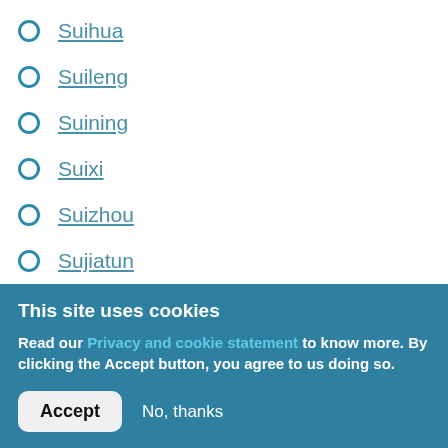Suihua
Suileng
Suining
Suixi
Suizhou
Sujiatun
Suozhen
Suzhou
Suzhou
Tahe
This site uses cookies
Read our Privacy and cookie statement to know more. By clicking the Accept button, you agree to us doing so.
Accept  No, thanks